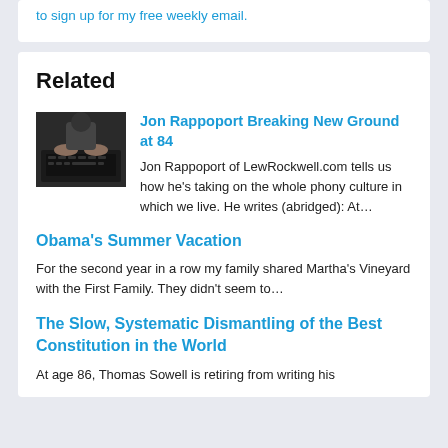to sign up for my free weekly email.
Related
Jon Rappoport Breaking New Ground at 84
Jon Rappoport of LewRockwell.com tells us how he's taking on the whole phony culture in which we live. He writes (abridged): At…
Obama's Summer Vacation
For the second year in a row my family shared Martha's Vineyard with the First Family. They didn't seem to…
The Slow, Systematic Dismantling of the Best Constitution in the World
At age 86, Thomas Sowell is retiring from writing his